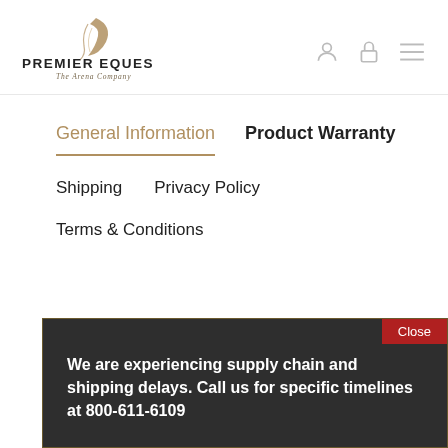[Figure (logo): Premier Equestrian logo with feather/wave graphic above the company name and tagline 'The Arena Company']
General Information
Product Warranty
Shipping
Privacy Policy
Terms & Conditions
We are experiencing supply chain and shipping delays. Call us for specific timelines at 800-611-6109